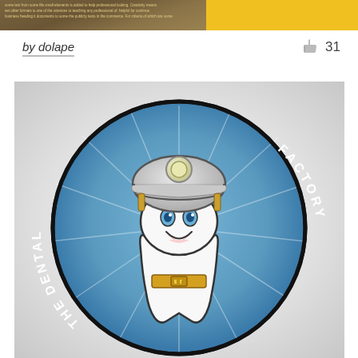[Figure (illustration): Top banner showing a document/poster image on the left (brown/tan tones with small text) and a gold/yellow background on the right]
by dolape
[Figure (illustration): Thumbs up icon (like button) followed by the number 31]
[Figure (logo): Circular logo for 'The Dental Factory' featuring a cartoon tooth character wearing a construction worker hard hat with a light, blue eyes, a smiling mouth with red lips, and a gold belt buckle. The character is set against a blue circular background with radiating light rays. The text 'THE DENTAL' runs along the left side and 'FACTORY' runs along the right side of the circle in white letters. The logo is printed/embossed on a textured paper surface.]